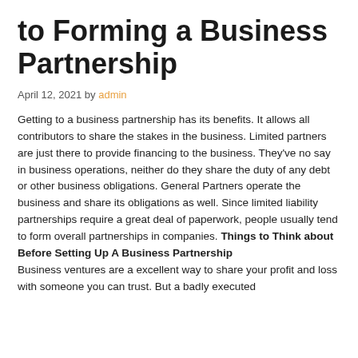to Forming a Business Partnership
April 12, 2021 by admin
Getting to a business partnership has its benefits. It allows all contributors to share the stakes in the business. Limited partners are just there to provide financing to the business. They've no say in business operations, neither do they share the duty of any debt or other business obligations. General Partners operate the business and share its obligations as well. Since limited liability partnerships require a great deal of paperwork, people usually tend to form overall partnerships in companies. Things to Think about Before Setting Up A Business Partnership Business ventures are a excellent way to share your profit and loss with someone you can trust. But a badly executed